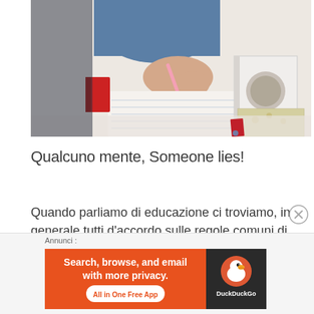[Figure (photo): A person writing with a pink pen on lined paper, with books (including a white book with a circular illustration on the cover) on a table in front of a white bookshelf background.]
Qualcuno mente, Someone lies!
Quando parliamo di educazione ci troviamo, in generale tutti d'accordo sulle regole comuni di
Annunci
[Figure (screenshot): DuckDuckGo advertisement banner with orange background. Left side text: 'Search, browse, and email with more privacy. All in One Free App'. Right side shows DuckDuckGo logo (duck icon) on dark background with 'DuckDuckGo' text.]